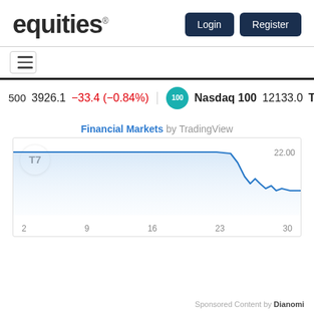equities® Login Register
[Figure (screenshot): Hamburger menu icon button]
500  3926.1  −33.4 (−0.84%)  |  Nasdaq 100  12133.0  T
Financial Markets by TradingView
[Figure (line-chart): Line chart showing market data with drop near date 30, y-axis shows 22.00, x-axis shows dates 2, 9, 16, 23, 30]
Sponsored Content by Dianomi